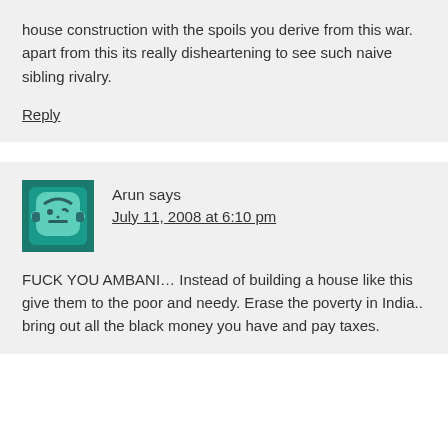house construction with the spoils you derive from this war. apart from this its really disheartening to see such naive sibling rivalry.
Reply
[Figure (illustration): Avatar icon showing a cartoon face on a teal/green square background]
Arun says
July 11, 2008 at 6:10 pm
FUCK YOU AMBANI… Instead of building a house like this give them to the poor and needy. Erase the poverty in India.. bring out all the black money you have and pay taxes.